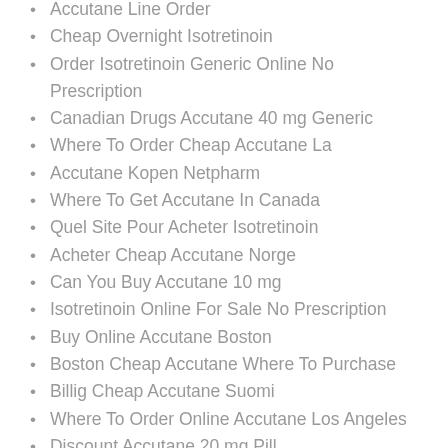Accutane Line Order
Cheap Overnight Isotretinoin
Order Isotretinoin Generic Online No Prescription
Canadian Drugs Accutane 40 mg Generic
Where To Order Cheap Accutane La
Accutane Kopen Netpharm
Where To Get Accutane In Canada
Quel Site Pour Acheter Isotretinoin
Acheter Cheap Accutane Norge
Can You Buy Accutane 10 mg
Isotretinoin Online For Sale No Prescription
Buy Online Accutane Boston
Boston Cheap Accutane Where To Purchase
Billig Cheap Accutane Suomi
Where To Order Online Accutane Los Angeles
Discount Accutane 20 mg Pill
Where To Get Cheap Accutane Norway
Buy Generic Isotretinoin No Prescription
Isotretinoin From Canada